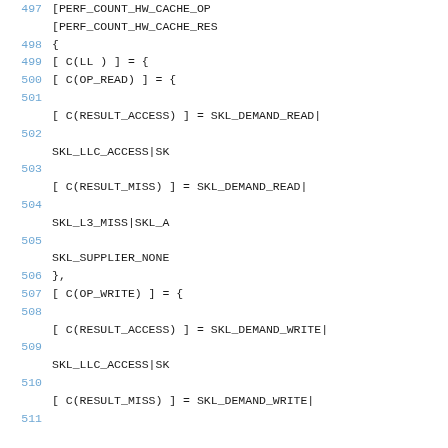497  [PERF_COUNT_HW_CACHE_OP...
[PERF_COUNT_HW_CACHE_RES...
498 {
499  [ C(LL  ) ] = {
500          [ C(OP_READ) ] = {
501
[ C(RESULT_ACCESS) ] = SKL_DEMAND_READ|
502
SKL_LLC_ACCESS|SK
503
[ C(RESULT_MISS)    ] = SKL_DEMAND_READ|
504
SKL_L3_MISS|SKL_A
505
SKL_SUPPLIER_NONE
506          },
507          [ C(OP_WRITE) ] = {
508
[ C(RESULT_ACCESS) ] = SKL_DEMAND_WRITE|
509
SKL_LLC_ACCESS|SK
510
[ C(RESULT_MISS)    ] = SKL_DEMAND_WRITE|
511